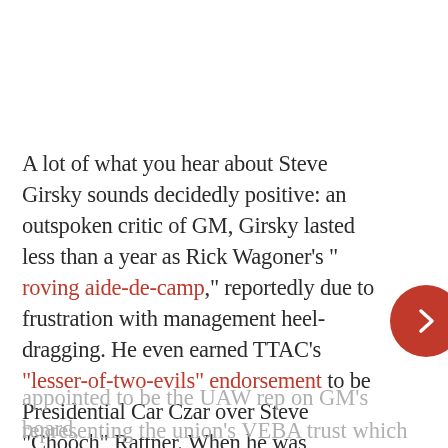A lot of what you hear about Steve Girsky sounds decidedly positive: an outspoken critic of GM, Girsky lasted less than a year as Rick Wagoner's “ roving aide-de-camp,” reportedly due to frustration with management heel-dragging. He even earned TTAC’s “lesser-of-two-evils” endorsement to be Presidential Car Czar over Steve “Chooch” Rattner. When he was
appointed to be the UAW rep on GM’s board, representing the union’s VEBA trust which owns